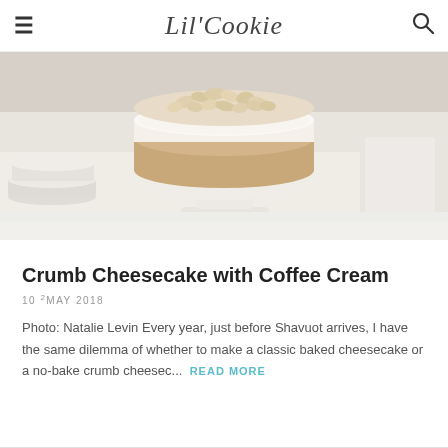☰  Lil'Cookie  🔍
[Figure (photo): Photo of a crumb cheesecake with coffee cream topping on a white cake stand, surrounded by white plates and napkins on a white surface.]
Crumb Cheesecake with Coffee Cream
10 2MAY 2018
Photo: Natalie Levin Every year, just before Shavuot arrives, I have the same dilemma of whether to make a classic baked cheesecake or a no-bake crumb cheesec...  READ MORE